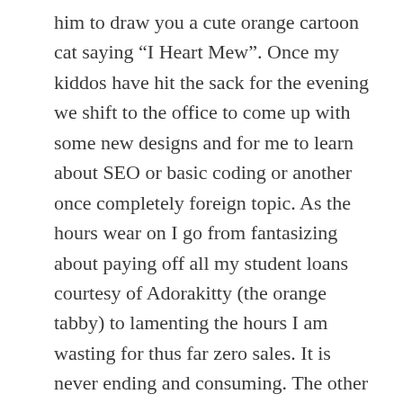him to draw you a cute orange cartoon cat saying “I Heart Mew”. Once my kiddos have hit the sack for the evening we shift to the office to come up with some new designs and for me to learn about SEO or basic coding or another once completely foreign topic. As the hours wear on I go from fantasizing about paying off all my student loans courtesy of Adorakitty (the orange tabby) to lamenting the hours I am wasting for thus far zero sales. It is never ending and consuming. The other issue I am running into is a mixed feeling for which I have no name. Somewhere between shame and guilt I think, maybe? As a self conscious person in an over-marketed to society I anxiously await a backlash of some sort. For some reason there seems to be a difference in the perception of promoting a